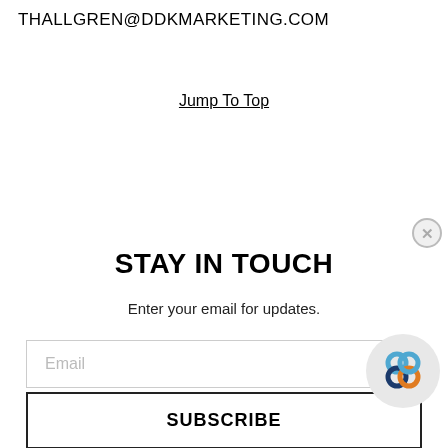THALLGREN@DDKMARKETING.COM
Jump To Top
STAY IN TOUCH
Enter your email for updates.
Email
SUBSCRIBE